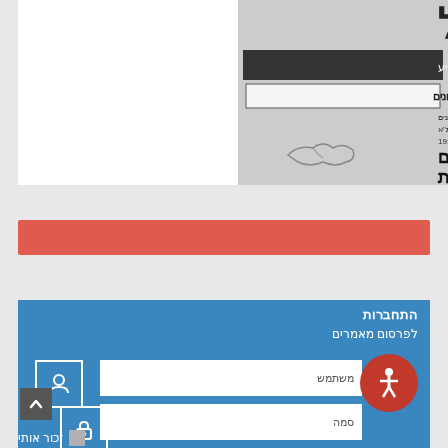[Figure (photo): Black and white Israeli political flyer/poster showing Hebrew text. Top text reads large bold characters, followed by a box with text about stopping violence and a peace rally announcement. Bottom shows 'כן לשלום לא לאלימות' (Yes to Peace, No to Violence) with a dove symbol.]
[Figure (other): Red/salmon colored horizontal banner strip]
התחברות
לפרסום מאמרים
משתמש
סמה
זכור אותי